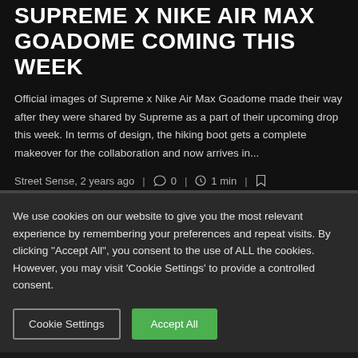SUPREME X NIKE AIR MAX GOADOME COMING THIS WEEK
Official images of Supreme x Nike Air Max Goadome made their way after they were shared by Supreme as a part of their upcoming drop this week. In terms of design, the hiking boot gets a complete makeover for the collaboration and now arrives in...
Street Sense, 2 years ago | 0 | 1 min |
We use cookies on our website to give you the most relevant experience by remembering your preferences and repeat visits. By clicking "Accept All", you consent to the use of ALL the cookies. However, you may visit 'Cookie Settings' to provide a controlled consent.